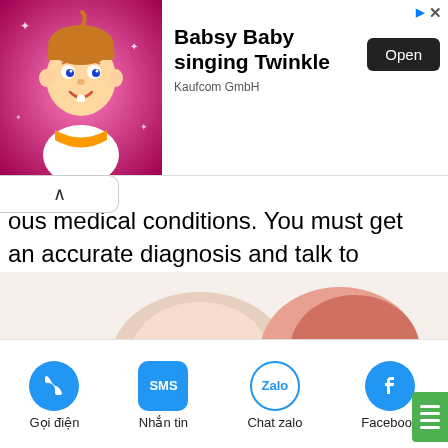[Figure (screenshot): Advertisement banner for 'Babsy Baby singing Twinkle' by Kaufcom GmbH with pink background baby cartoon image and Open button]
ous medical conditions. You must get an accurate diagnosis and talk to your doctor about taking a hormone medication that can correct your imbalance. Its essence is that it is a very effective endocrine medicine in helping your body to return to a state of balance; It doesn't mess with your body functions.
[Figure (photo): Partial image of hands or body parts at bottom of content area]
Gọi điện | Nhắn tin | Chat zalo | Facebook